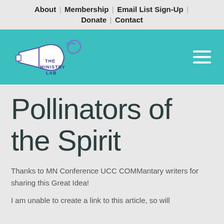About | Membership | Email List Sign-Up | Donate | Contact
[Figure (logo): The Ministry Lab logo — a megaphone with a spiral, teal band header with hamburger menu icon]
Pollinators of the Spirit
Thanks to MN Conference UCC COMMantary writers for sharing this Great Idea!
I am unable to create a link to this article, so will